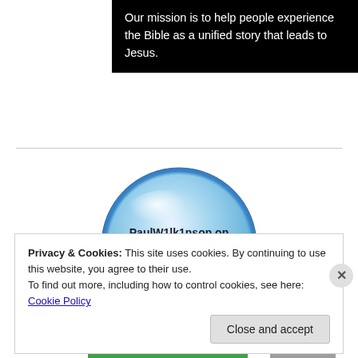Our mission is to help people experience the Bible as a unified story that leads to Jesus.
[Figure (logo): PaulW1lk1nson on Twitter — a blue glossy circular button with 'PaulW1lk1nson on twitter' text]
Privacy & Cookies: This site uses cookies. By continuing to use this website, you agree to their use.
To find out more, including how to control cookies, see here: Cookie Policy
Close and accept